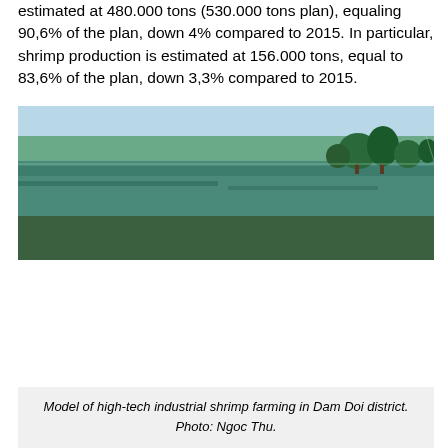estimated at 480.000 tons (530.000 tons plan), equaling 90,6% of the plan, down 4% compared to 2015. In particular, shrimp production is estimated at 156.000 tons, equal to 83,6% of the plan, down 3,3% compared to 2015.
[Figure (photo): A wide, narrow landscape photograph showing a shrimp farming waterway or pond with trees along the distant bank, taken in Dam Doi district.]
Model of high-tech industrial shrimp farming in Dam Doi district. Photo: Ngoc Thu.